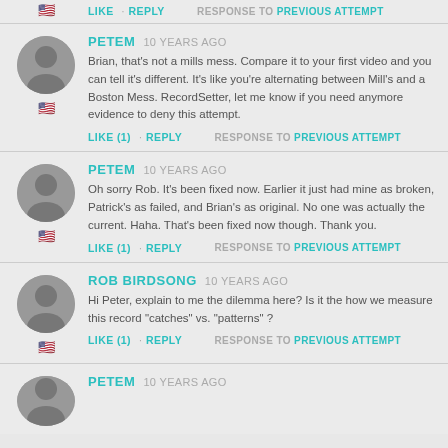LIKE · REPLY   RESPONSE TO PREVIOUS ATTEMPT
PETEM 10 YEARS AGO
Brian, that's not a mills mess. Compare it to your first video and you can tell it's different. It's like you're alternating between Mill's and a Boston Mess. RecordSetter, let me know if you need anymore evidence to deny this attempt.
LIKE (1) · REPLY   RESPONSE TO PREVIOUS ATTEMPT
PETEM 10 YEARS AGO
Oh sorry Rob. It's been fixed now. Earlier it just had mine as broken, Patrick's as failed, and Brian's as original. No one was actually the current. Haha. That's been fixed now though. Thank you.
LIKE (1) · REPLY   RESPONSE TO PREVIOUS ATTEMPT
ROB BIRDSONG 10 YEARS AGO
Hi Peter, explain to me the dilemma here? Is it the how we measure this record "catches" vs. "patterns" ?
LIKE (1) · REPLY   RESPONSE TO PREVIOUS ATTEMPT
PETEM 10 YEARS AGO